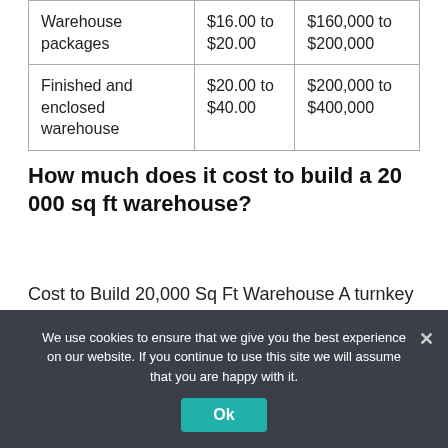| Warehouse packages | $16.00 to $20.00 | $160,000 to $200,000 |
| Finished and enclosed warehouse | $20.00 to $40.00 | $200,000 to $400,000 |
How much does it cost to build a 20 000 sq ft warehouse?
Cost to Build 20,000 Sq Ft Warehouse A turnkey 100×200, or 20,000 square foot, warehouse is around $1,250,000, plus land and grading. Building the shell (building, concrete, and erection) will bit
We use cookies to ensure that we give you the best experience on our website. If you continue to use this site we will assume that you are happy with it.